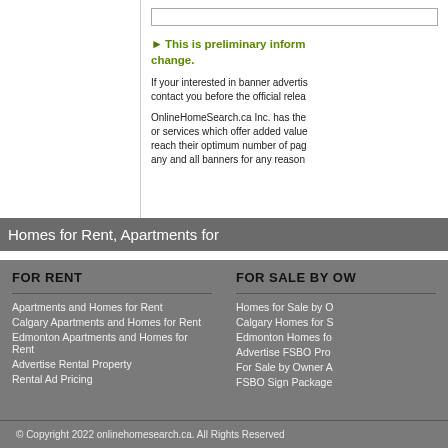[input bar]
▶This is preliminary information and is subject to change.
If your interested in banner advertising on this page, contact you before the official release.
OnlineHomeSearch.ca Inc. has the right to accept or decline any businesses or services which offer added value. Pages will be removed before they reach their optimum number of page advertisers. We reserve the right to remove any and all banners for any reason.
Homes for Rent, Apartments for
FOR RENT
Apartments and Homes for Rent
Calgary Apartments and Homes for Rent
Edmonton Apartments and Homes for Rent
Advertise Rental Property
Rental Ad Pricing
FOR SALE BY OW
Homes for Sale by O
Calgary Homes for S
Edmonton Homes fo
Advertise FSBO Pro
For Sale by Owner A
FSBO Sign Package
© Copyright 2022 onlinehomesearch.ca. All Rights Reserved